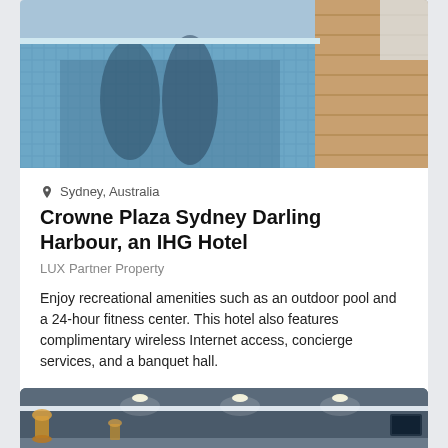[Figure (photo): Outdoor infinity pool with blue mosaic tiles, reflection of buildings, wooden deck area to the right.]
Sydney, Australia
Crowne Plaza Sydney Darling Harbour, an IHG Hotel
LUX Partner Property
Enjoy recreational amenities such as an outdoor pool and a 24-hour fitness center. This hotel also features complimentary wireless Internet access, concierge services, and a banquet hall.
View details
Select your dates
[Figure (photo): Hotel lobby interior with dark grey walls, recessed ceiling lights, and decorative gold sculptural element on the left.]